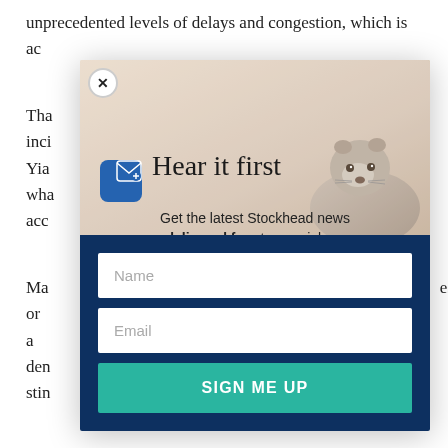unprecedented levels of delays and congestion, which is ac...
Tha... inci... Yia... wha... acc...
Ma... or a... den... stin...
"Do... mai... for ...
"Tw... ...ts
[Figure (screenshot): Email newsletter signup modal popup overlay with 'Hear it first' heading, email icon, groundhog/marmot photo background, Name input field, Email input field, and 'SIGN ME UP' teal button on dark navy background. A close X button appears at the top left corner of the modal.]